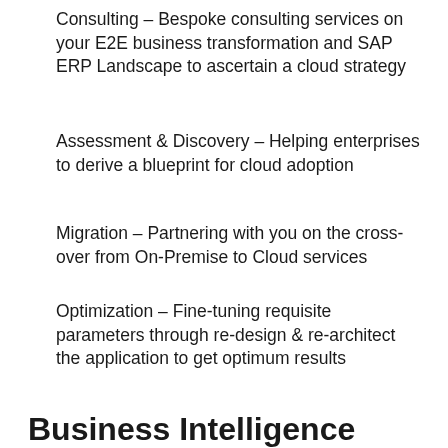Consulting – Bespoke consulting services on your E2E business transformation and SAP ERP Landscape to ascertain a cloud strategy
Assessment & Discovery – Helping enterprises to derive a blueprint for cloud adoption
Migration – Partnering with you on the cross-over from On-Premise to Cloud services
Optimization – Fine-tuning requisite parameters through re-design & re-architect the application to get optimum results
Business Intelligence